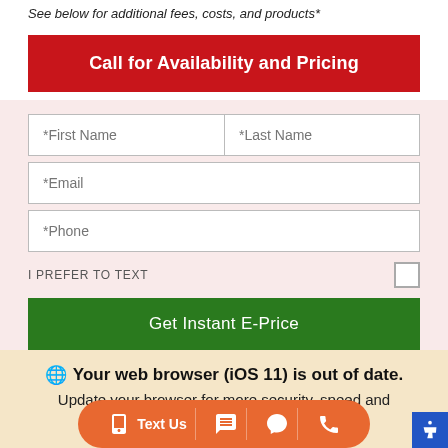See below for additional fees, costs, and products*
Call for Availability and Pricing
*First Name
*Last Name
*Email
*Phone
I PREFER TO TEXT
Get Instant E-Price
Your web browser (iOS 11) is out of date. Update your browser for more security, speed and the best experience.
Text Us